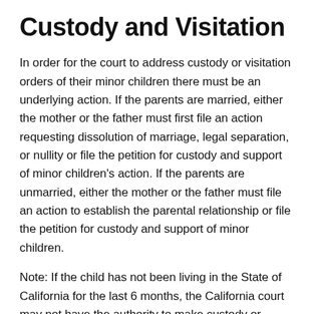Custody and Visitation
In order for the court to address custody or visitation orders of their minor children there must be an underlying action. If the parents are married, either the mother or the father must first file an action requesting dissolution of marriage, legal separation, or nullity or file the petition for custody and support of minor children's action. If the parents are unmarried, either the mother or the father must file an action to establish the parental relationship or file the petition for custody and support of minor children.
Note: If the child has not been living in the State of California for the last 6 months, the California court may not have the authority to make custody or visitation orders. Please seek legal assistance or